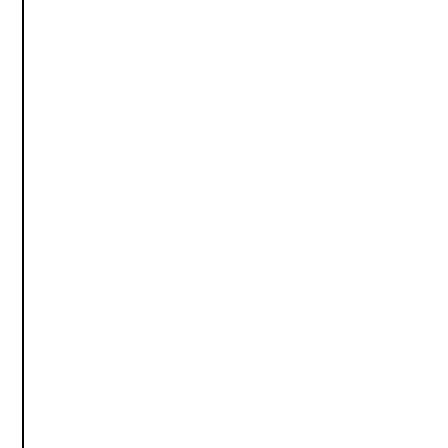Playback FB's 'Skip delays longer than (…
Removed non-applicable panels from ne…
Revamped the Text API terminal, and it's…
Reworked the way that the message pro…
Stacked signal plots now show all Y valu…
Text signal comparison now works corre…
The Messages View 'Filter by ArbID' now…
The TextAPI command 'databaseplatform…
Tuned up Signal Plot to start faster when…
TX_DL dropdown now properly hides wh…
Vehicle Spy is no longer slow when editi…
Vehicle Spy now handles multiple files in…
VS3EXE files now have the option to aut…
VSDBs imported from ARXMLs now get…